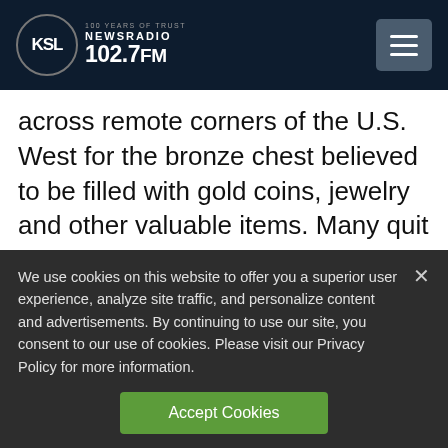KSL NewsRadio 102.7FM — 100 Years of Trust
across remote corners of the U.S. West for the bronze chest believed to be filled with gold coins, jewelry and other valuable items. Many quit their jobs to dedicate themselves to the search and others depleted their life savings. At least four people died searching
We use cookies on this website to offer you a superior user experience, analyze site traffic, and personalize content and advertisements. By continuing to use our site, you consent to our use of cookies. Please visit our Privacy Policy for more information.
Accept Cookies